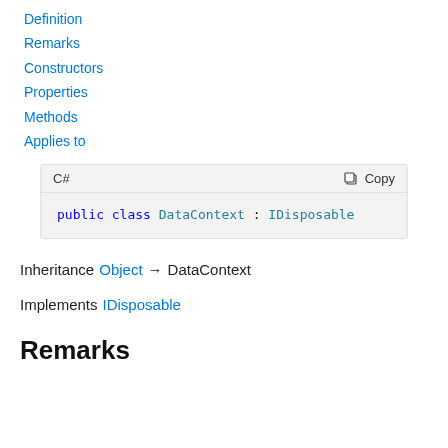Definition
Remarks
Constructors
Properties
Methods
Applies to
C#   Copy
public class DataContext : IDisposable
Inheritance  Object → DataContext
Implements  IDisposable
Remarks